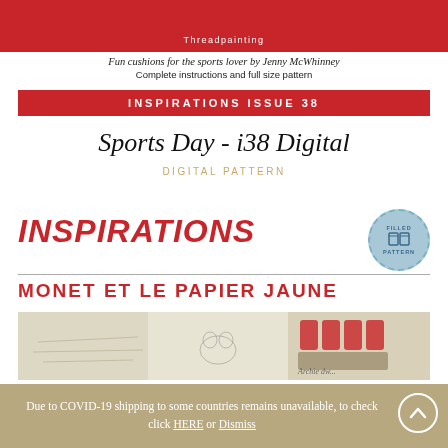[Figure (photo): Red banner with 'Threadpainting' label and decorative image strip at top]
Fun cushions for the sports lover by Jenny McWhinney
Complete instructions and full size pattern
INSPIRATIONS ISSUE 38
Sports Day - i38 Digital
DIGITAL PATTERN
[Figure (logo): INSPIRATIONS logo in red italic bold text with a circular badge on the right showing a book icon]
MONET ET LE PAPIER JAUNE
[Figure (photo): Photo strip showing embroidery materials, thread spools, and handwriting on paper]
Due to COVID-19 shipping to some countries remains unavailable, to check click HERE or Dismiss